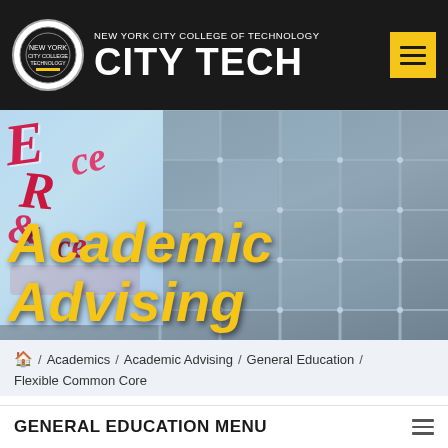NEW YORK CITY COLLEGE OF TECHNOLOGY CITY TECH
[Figure (screenshot): City Tech website hero banner showing 'Academic Advising' in yellow bold italic text over a background of a colorful art mural on the left and glass building facade on the right]
🏠 / Academics / Academic Advising / General Education / Flexible Common Core
GENERAL EDUCATION MENU